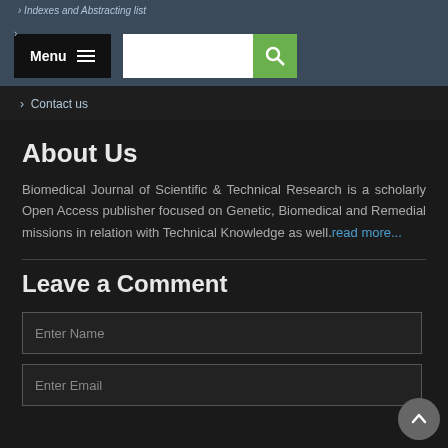Indexes and Abstracting list
[Figure (screenshot): Navigation bar with Menu button and hamburger icon on dark background, search input field with green search button]
Contact us
About Us
Biomedical Journal of Scientific & Technical Research is a scholarly Open Access publisher focused on Genetic, Biomedical and Remedial missions in relation with Technical Knowledge as well. read more...
Leave a Comment
Enter Name
Enter Email